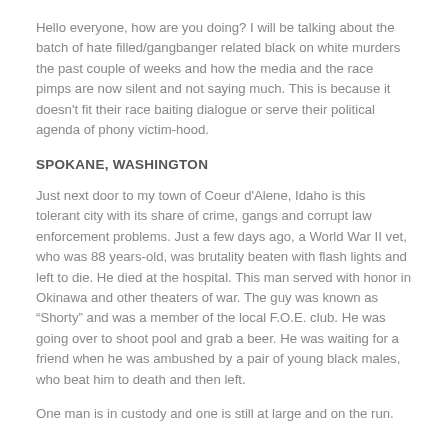Hello everyone, how are you doing? I will be talking about the batch of hate filled/gangbanger related black on white murders the past couple of weeks and how the media and the race pimps are now silent and not saying much. This is because it doesn't fit their race baiting dialogue or serve their political agenda of phony victim-hood.
SPOKANE, WASHINGTON
Just next door to my town of Coeur d'Alene, Idaho is this tolerant city with its share of crime, gangs and corrupt law enforcement problems. Just a few days ago, a World War II vet, who was 88 years-old, was brutality beaten with flash lights and left to die. He died at the hospital. This man served with honor in Okinawa and other theaters of war. The guy was known as “Shorty” and was a member of the local F.O.E. club. He was going over to shoot pool and grab a beer. He was waiting for a friend when he was ambushed by a pair of young black males, who beat him to death and then left.
One man is in custody and one is still at large and on the run.